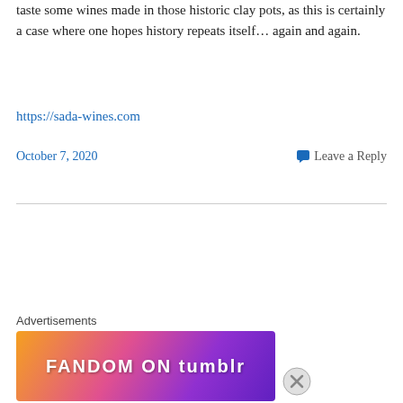taste some wines made in those historic clay pots, as this is certainly a case where one hopes history repeats itself… again and again.
https://sada-wines.com
October 7, 2020
Leave a Reply
[Figure (photo): Grid of 16 small profile/photo thumbnails arranged in 2 rows of 8]
Advertisements
[Figure (other): Advertisement banner: FANDOM ON tumblr with colorful gradient background]